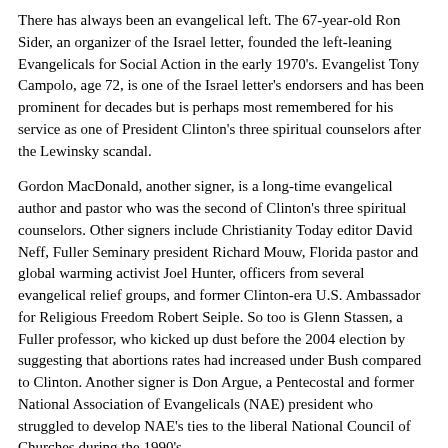There has always been an evangelical left. The 67-year-old Ron Sider, an organizer of the Israel letter, founded the left-leaning Evangelicals for Social Action in the early 1970's. Evangelist Tony Campolo, age 72, is one of the Israel letter's endorsers and has been prominent for decades but is perhaps most remembered for his service as one of President Clinton's three spiritual counselors after the Lewinsky scandal.
Gordon MacDonald, another signer, is a long-time evangelical author and pastor who was the second of Clinton's three spiritual counselors. Other signers include Christianity Today editor David Neff, Fuller Seminary president Richard Mouw, Florida pastor and global warming activist Joel Hunter, officers from several evangelical relief groups, and former Clinton-era U.S. Ambassador for Religious Freedom Robert Seiple. So too is Glenn Stassen, a Fuller professor, who kicked up dust before the 2004 election by suggesting that abortions rates had increased under Bush compared to Clinton. Another signer is Don Argue, a Pentecostal and former National Association of Evangelicals (NAE) president who struggled to develop NAE's ties to the liberal National Council of Churches during the 1990's.
"This group is in no way anti-Israel, and we make it very clear we're committed to the security of Israel," Ron Sider told Times.